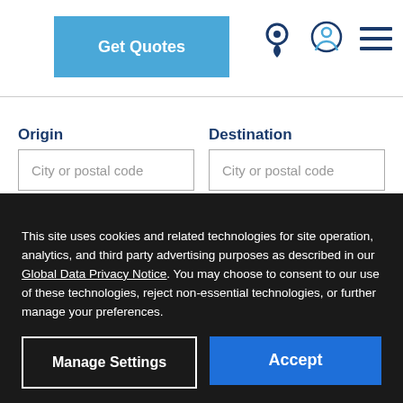Get Quotes
Origin
Destination
City or postal code
City or postal code
Enter a US city or postal code
This site uses cookies and related technologies for site operation, analytics, and third party advertising purposes as described in our Global Data Privacy Notice. You may choose to consent to our use of these technologies, reject non-essential technologies, or further manage your preferences.
Manage Settings
Accept
Shipping from H